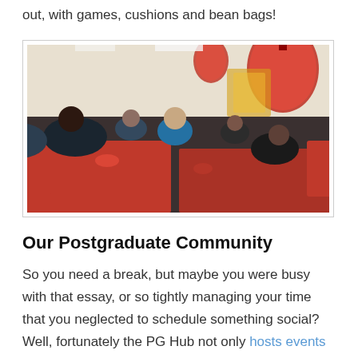out, with games, cushions and bean bags!
[Figure (photo): People seated at red tables in a room decorated with red Chinese lanterns, eating together at what appears to be a Chinese New Year event.]
Our Postgraduate Community
So you need a break, but maybe you were busy with that essay, or so tightly managing your time that you neglected to schedule something social? Well, fortunately the PG Hub not only hosts events year round, but also gives students of all nationalities the